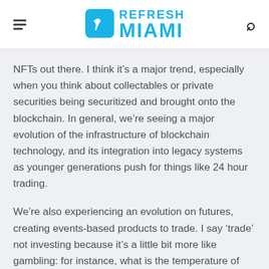Refresh Miami
NFTs out there. I think it’s a major trend, especially when you think about collectables or private securities being securitized and brought onto the blockchain. In general, we’re seeing a major evolution of the infrastructure of blockchain technology, and its integration into legacy systems as younger generations push for things like 24 hour trading.
We’re also experiencing an evolution on futures, creating events-based products to trade. I say ‘trade’ not investing because it’s a little bit more like gambling: for instance, what is the temperature of New York going to be tomorrow.